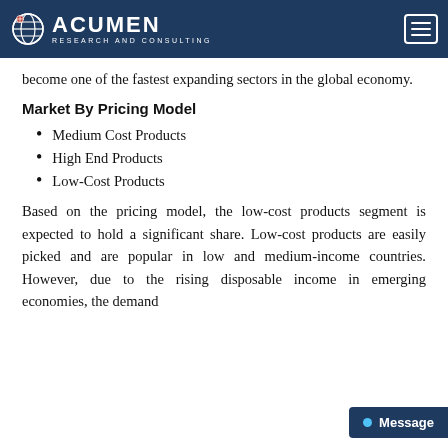Acumen Research and Consulting
become one of the fastest expanding sectors in the global economy.
Market By Pricing Model
Medium Cost Products
High End Products
Low-Cost Products
Based on the pricing model, the low-cost products segment is expected to hold a significant share. Low-cost products are easily picked and are popular in low and medium-income countries. However, due to the rising disposable income in emerging economies, the demand